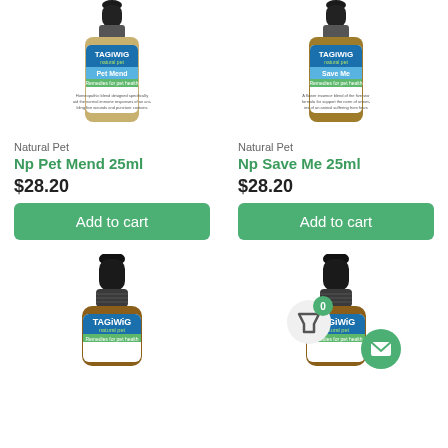[Figure (photo): TaGiWiG Natural Pet 'Pet Mend' dropper bottle product photo]
[Figure (photo): TaGiWiG Natural Pet 'Save Me' dropper bottle product photo]
Natural Pet
Np Pet Mend 25ml
$28.20
Add to cart
Natural Pet
Np Save Me 25ml
$28.20
Add to cart
[Figure (photo): TaGiWiG Natural Pet dropper bottle product photo (bottom left)]
[Figure (photo): TaGiWiG Natural Pet dropper bottle product photo (bottom right)]